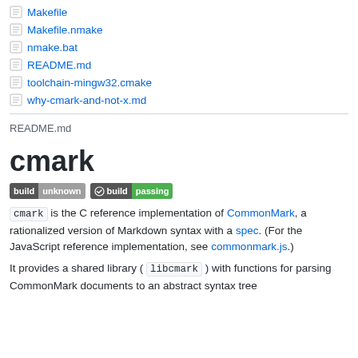Makefile
Makefile.nmake
nmake.bat
README.md
toolchain-mingw32.cmake
why-cmark-and-not-x.md
README.md
cmark
[Figure (other): Build status badges: 'build unknown' and 'build passing']
cmark is the C reference implementation of CommonMark, a rationalized version of Markdown syntax with a spec. (For the JavaScript reference implementation, see commonmark.js.)

It provides a shared library ( libcmark ) with functions for parsing CommonMark documents to an abstract syntax tree (AST),